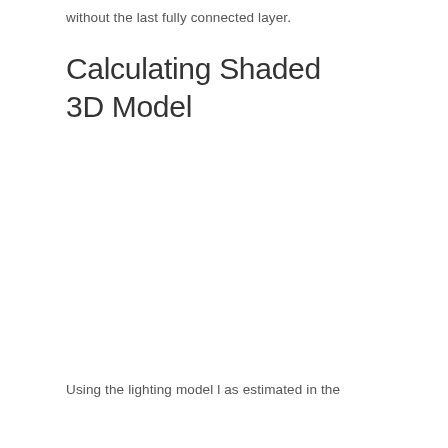without the last fully connected layer.
Calculating Shaded
3D Model
Using the lighting model l as estimated in the